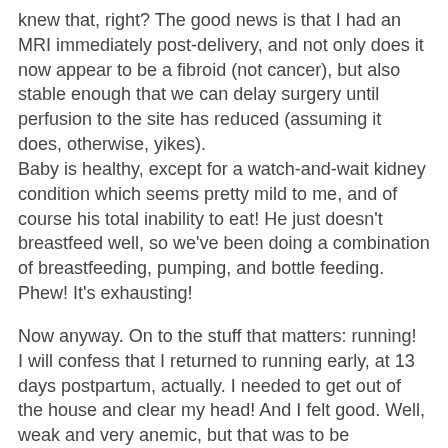knew that, right? The good news is that I had an MRI immediately post-delivery, and not only does it now appear to be a fibroid (not cancer), but also stable enough that we can delay surgery until perfusion to the site has reduced (assuming it does, otherwise, yikes). Baby is healthy, except for a watch-and-wait kidney condition which seems pretty mild to me, and of course his total inability to eat! He just doesn't breastfeed well, so we've been doing a combination of breastfeeding, pumping, and bottle feeding. Phew! It's exhausting!
Now anyway. On to the stuff that matters: running! I will confess that I returned to running early, at 13 days postpartum, actually. I needed to get out of the house and clear my head! And I felt good. Well, weak and very anemic, but that was to be expected. Since then, I've been only able to run some short miles, mostly due to a not-so-stable baby schedule plus just being plain old tired. I've now been officially cleared to run, but honestly, I think that is more a personal decision than something a healthcare provider can tell you. I was most worried about pelvic floor issues, but I have had no such problems at all, thankfully.